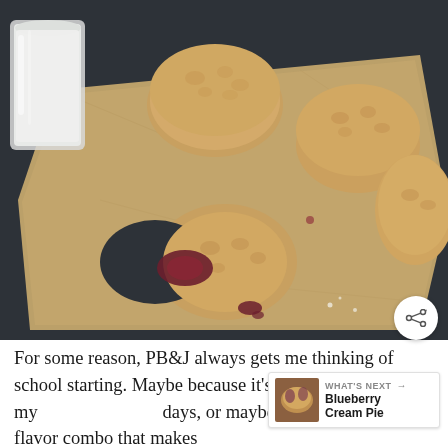[Figure (photo): Overhead view of peanut butter and jelly sandwich cookies on brown parchment paper on a dark slate surface. A glass of milk is visible in the upper left corner. Several cookies are stacked or sandwiched together, and one cookie has a bite taken out of it revealing the jam filling. Jelly drips are visible on the parchment.]
For some reason, PB&J always gets me thinking of school starting. Maybe because it's what I had in my days, or maybe it's just the iconic flavor combo that makes